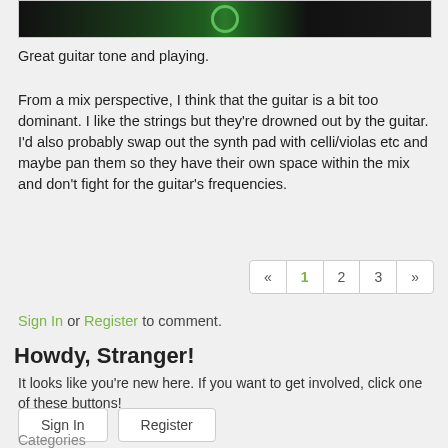[Figure (screenshot): A dark screenshot of a music website interface with a green circular play button in the center and dark header/navigation areas]
Great guitar tone and playing.
From a mix perspective, I think that the guitar is a bit too dominant. I like the strings but they're drowned out by the guitar. I'd also probably swap out the synth pad with celli/violas etc and maybe pan them so they have their own space within the mix and don't fight for the guitar's frequencies.
« 1 2 3 »
Sign In or Register to comment.
Howdy, Stranger!
It looks like you're new here. If you want to get involved, click one of these buttons!
Sign In   Register
Categories